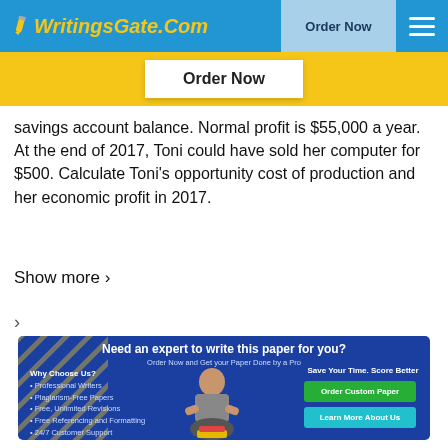WritingsGate.Com  |  Order Now
Order Now
savings account balance. Normal profit is $55,000 a year. At the end of 2017, Toni could have sold her computer for $500. Calculate Toni's opportunity cost of production and her economic profit in 2017.
Show more >
>
[Figure (infographic): Advertisement banner for WritingsGate.com writing service. Blue background with gold decorative lines on left. Headline: 'Need an expert to write this paper for you?' Subheadline: 'Order Now and Get your Paper Done by a Pro'. Left side: 'Why Choose Us?' with bullets: Professional Writers, Plagiarism-Free Papers, Free, Unlimited Revisions, Free Referencing and Formatting, 24/7 Customer Support. Center: image of seated female student. Right side: 'Save Your Time. Score Better' with green 'Order Custom Paper' button and cyan 'Learn More About Us' button.]